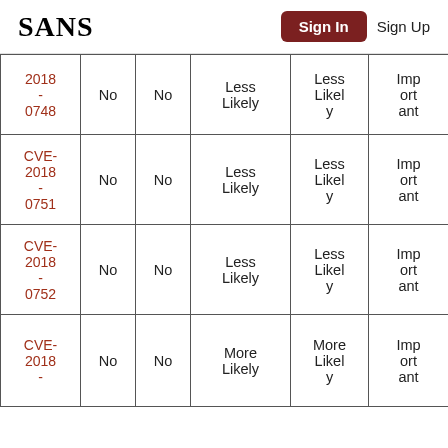SANS | Sign In | Sign Up
| CVE | Col2 | Col3 | Col4 | Col5 | Col6 |
| --- | --- | --- | --- | --- | --- |
| 2018-0748 | No | No | Less Likely | Less Likely | Important |
| CVE-2018-0751 | No | No | Less Likely | Less Likely | Important |
| CVE-2018-0752 | No | No | Less Likely | Less Likely | Important |
| CVE-2018-... | No | No | More Likely | More Likely | Important |